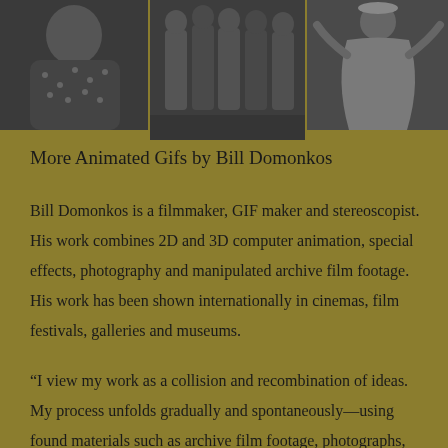[Figure (photo): Three black-and-white vintage photographs arranged in a row at the top of the page: left shows a woman in a polka-dot dress from behind/side angle, center shows a group of women standing together, right shows a woman in flowing garments holding something above her head.]
More Animated Gifs by Bill Domonkos
Bill Domonkos is a filmmaker, GIF maker and stereoscopist. His work combines 2D and 3D computer animation, special effects, photography and manipulated archive film footage. His work has been shown internationally in cinemas, film festivals, galleries and museums.
“I view my work as a collision and recombination of ideas. My process unfolds gradually and spontaneously—using found materials such as archive film footage, photographs, and the internet. I experiment by